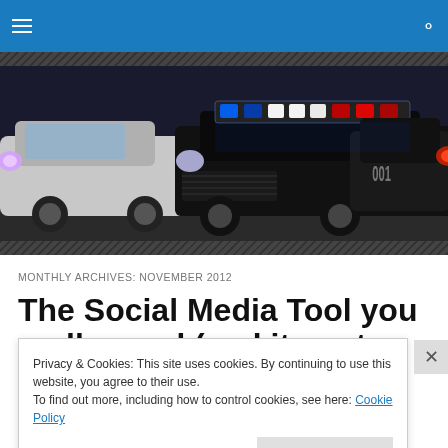Navigation bar with hamburger menu and search icon
[Figure (photo): Hero image showing police car with flashing blue and red lights on roof, dark dramatic scene with two vehicles]
MONTHLY ARCHIVES: NOVEMBER 2012
The Social Media Tool you really need (and its not
Privacy & Cookies: This site uses cookies. By continuing to use this website, you agree to their use.
To find out more, including how to control cookies, see here: Cookie Policy
Close and accept